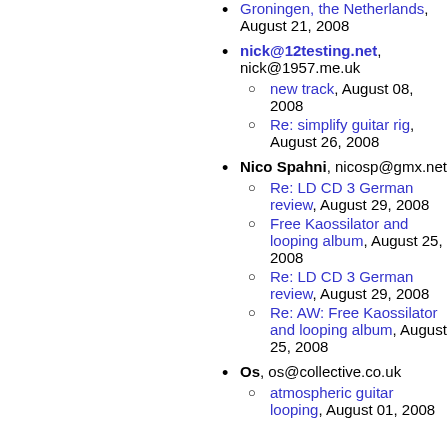Groningen, the Netherlands, August 21, 2008
nick@12testing.net, nick@1957.me.uk
new track, August 08, 2008
Re: simplify guitar rig, August 26, 2008
Nico Spahni, nicosp@gmx.net
Re: LD CD 3 German review, August 29, 2008
Free Kaossilator and looping album, August 25, 2008
Re: LD CD 3 German review, August 29, 2008
Re: AW: Free Kaossilator and looping album, August 25, 2008
Os, os@collective.co.uk
atmospheric guitar looping, August 01, 2008